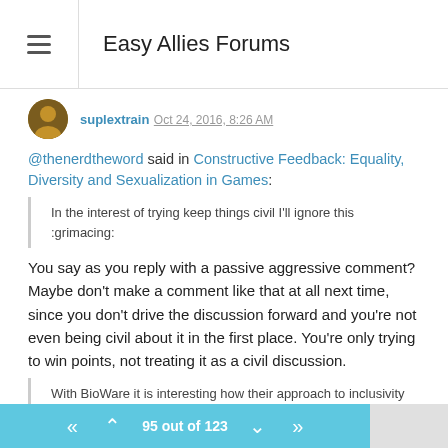Easy Allies Forums
suplextrain Oct 24, 2016, 8:26 AM
@thenerdtheword said in Constructive Feedback: Equality, Diversity and Sexualization in Games:
In the interest of trying keep things civil I'll ignore this :grimacing:
You say as you reply with a passive aggressive comment? Maybe don't make a comment like that at all next time, since you don't drive the discussion forward and you're not even being civil about it in the first place. You're only trying to win points, not treating it as a civil discussion.
With BioWare it is interesting how their approach to inclusivity started off as a slow trickle but now they have become sort of known for it they are almost reaching the point were a lot of tastes are covered in there releases. It has become expected to a point but their writing teams are geared around approaching story and character from as many points of
95 out of 123